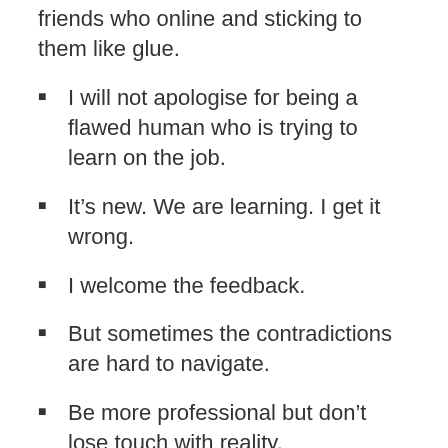friends who online and sticking to them like glue.
I will not apologise for being a flawed human who is trying to learn on the job.
It's new. We are learning. I get it wrong.
I welcome the feedback.
But sometimes the contradictions are hard to navigate.
Be more professional but don't lose touch with reality.
Be transparent but don't rub things in people's faces.
Keep providing free content but don't dare